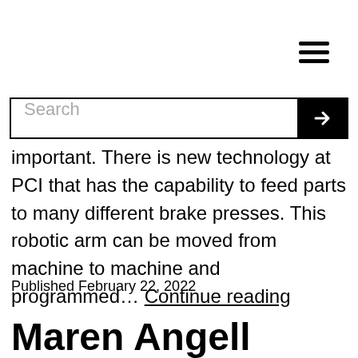[Figure (other): Hamburger menu icon (three horizontal lines)]
[Figure (other): Search bar with text input placeholder 'Search' and black arrow button]
important. There is new technology at PCI that has the capability to feed parts to many different brake presses. This robotic arm can be moved from machine to machine and programmed… Continue reading
Published February 22, 2022
Maren Angell Promoted: